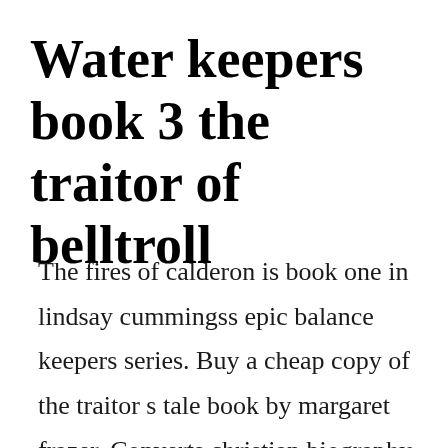Water keepers book 3 the traitor of belltroll
The fires of calderon is book one in lindsay cummingss epic balance keepers series. Buy a cheap copy of the traitor s tale book by margaret frazer. Converts christian biography, christian biography, books barnes. May 29, 2018 written by ar intern on may 29, 2018 in angry robot, author appearances, book